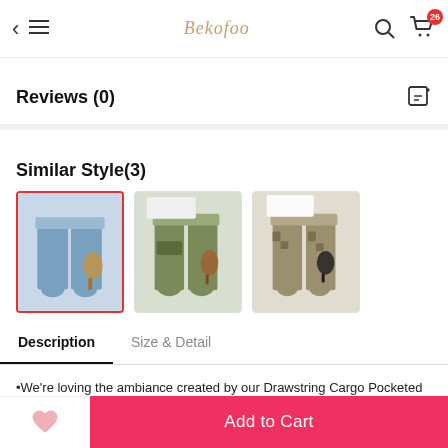Bekofoo — navigation bar with back, menu, logo, search, and cart (26 items)
Reviews (0)
Similar Style(3)
[Figure (photo): Three thumbnail photos of pants styles: selected denim joggers, olive cargo joggers, and camo joggers]
Description | Size & Detail — tabs
•We're loving the ambiance created by our Drawstring Cargo Pocketed Joggers
•The refreshing look features a perfect Spring + Summer light wash denim